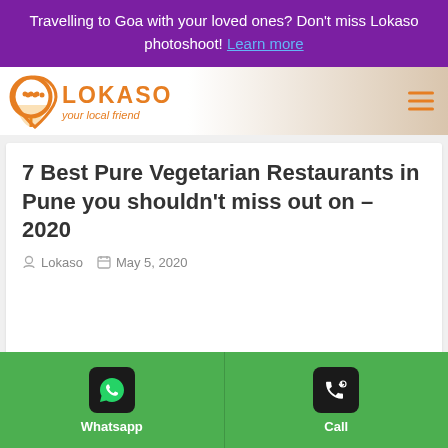Travelling to Goa with your loved ones? Don't miss Lokaso photoshoot! Learn more
[Figure (logo): Lokaso logo with orange map pin icon and tagline 'your local friend']
7 Best Pure Vegetarian Restaurants in Pune you shouldn't miss out on – 2020
Lokaso   May 5, 2020
ABOUT THE AUTHOR
[Figure (infographic): Bottom bar with Whatsapp and Call buttons on green background with dark icon boxes]